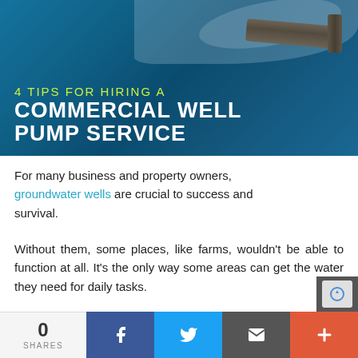[Figure (photo): Hero image showing a commercial water pump with blue water spray, overlaid with text '4 TIPS FOR HIRING A COMMERCIAL WELL PUMP SERVICE']
For many business and property owners, groundwater wells are crucial to success and survival.
Without them, some places, like farms, wouldn't be able to function at all. It's the only way some areas can get the water they need for daily tasks.
With such an important asset at stake, it's no w...
0 SHARES | Facebook | Twitter | Email | More